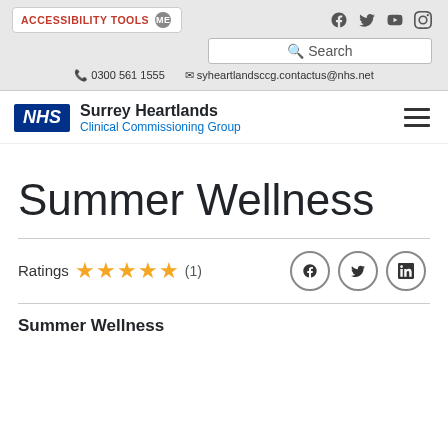ACCESSIBILITY TOOLS  me  | Social: Facebook, Twitter, YouTube, Instagram | Search | 0300 561 1555 | syheartlandsccg.contactus@nhs.net
[Figure (logo): NHS Surrey Heartlands Clinical Commissioning Group logo with NHS blue box and organization name]
Summer Wellness
Ratings ★★★★★ (1)
Summer Wellness